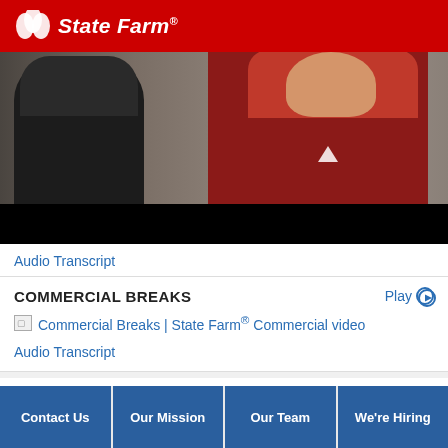[Figure (logo): State Farm logo — three interlocking ovals icon with 'State Farm' text in white italic on red background]
[Figure (photo): Video still showing two people: one in a black hoodie on the left and one in a red shirt on the right, with a black control bar at the bottom]
Audio Transcript
COMMERCIAL BREAKS
Play
[Figure (screenshot): Broken image placeholder followed by link text: Commercial Breaks | State Farm® Commercial video]
Audio Transcript
Contact Us
Our Mission
Our Team
We're Hiring